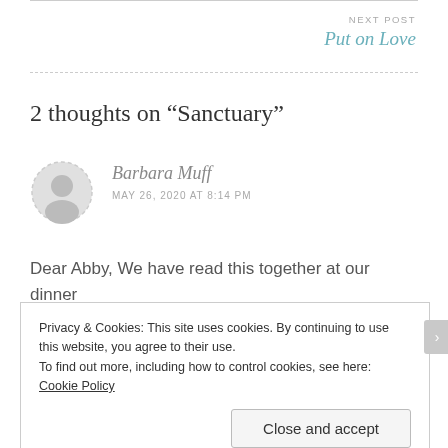NEXT POST
Put on Love
2 thoughts on “Sanctuary”
Barbara Muff
MAY 26, 2020 AT 8:14 PM
Dear Abby, We have read this together at our dinner
Privacy & Cookies: This site uses cookies. By continuing to use this website, you agree to their use.
To find out more, including how to control cookies, see here: Cookie Policy
Close and accept